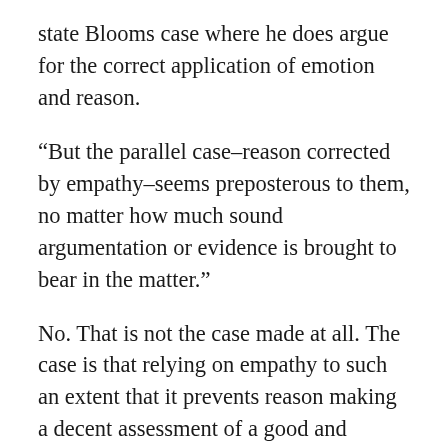state Blooms case where he does argue for the correct application of emotion and reason.
“But the parallel case–reason corrected by empathy–seems preposterous to them, no matter how much sound argumentation or evidence is brought to bear in the matter.”
No. That is not the case made at all. The case is that relying on empathy to such an extent that it prevents reason making a decent assessment of a good and effective response is the problem. If anything Bloom is arguing that empathy alone is the problem. He certainly isn’t making a case that reason and emotion should not be applied.